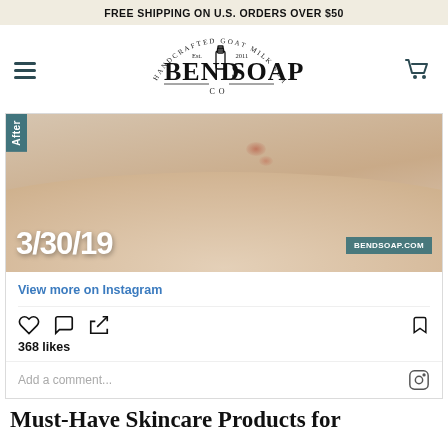FREE SHIPPING ON U.S. ORDERS OVER $50
[Figure (logo): Bend Soap Co. logo — handcrafted goat milk soaps, Est. 2011, with bottle illustration]
[Figure (photo): Instagram post photo showing a close-up of skin (heel/knee area) with minor irritation/redness dated 3/30/19, with bendsoap.com watermark and 'After' badge]
View more on Instagram
368 likes
Add a comment...
Must-Have Skincare Products for